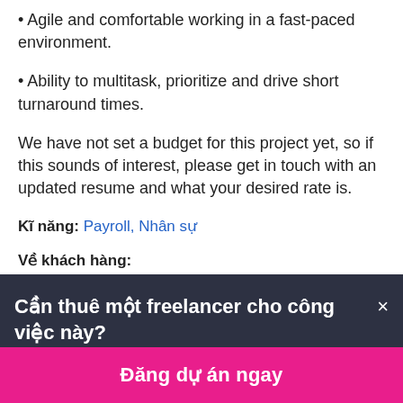• Agile and comfortable working in a fast-paced environment.
• Ability to multitask, prioritize and drive short turnaround times.
We have not set a budget for this project yet, so if this sounds of interest, please get in touch with an updated resume and what your desired rate is.
Kĩ năng: Payroll, Nhân sự
Về khách hàng:
Cần thuê một freelancer cho công việc này?×
Đăng dự án ngay